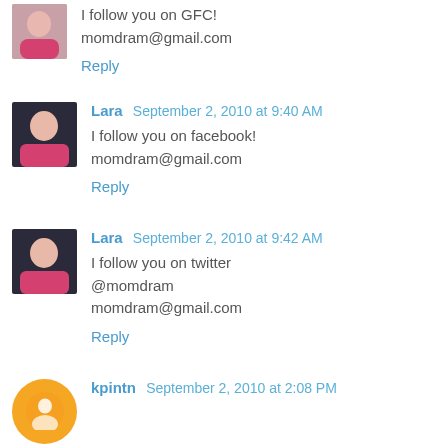I follow you on GFC!
momdram@gmail.com
Reply
Lara  September 2, 2010 at 9:40 AM
I follow you on facebook!
momdram@gmail.com
Reply
Lara  September 2, 2010 at 9:42 AM
I follow you on twitter
@momdram
momdram@gmail.com
Reply
kpintn  September 2, 2010 at 2:08 PM